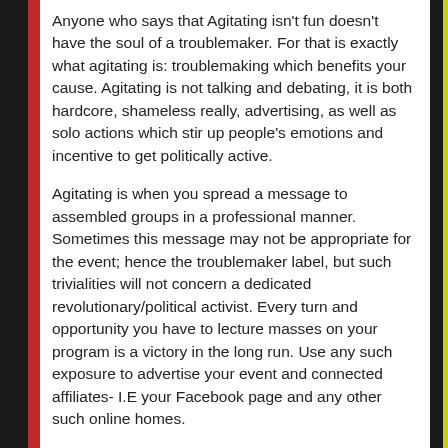Anyone who says that Agitating isn't fun doesn't have the soul of a troublemaker. For that is exactly what agitating is: troublemaking which benefits your cause. Agitating is not talking and debating, it is both hardcore, shameless really, advertising, as well as solo actions which stir up people's emotions and incentive to get politically active.
Agitating is when you spread a message to assembled groups in a professional manner. Sometimes this message may not be appropriate for the event; hence the troublemaker label, but such trivialities will not concern a dedicated revolutionary/political activist. Every turn and opportunity you have to lecture masses on your program is a victory in the long run. Use any such exposure to advertise your event and connected affiliates- I.E your Facebook page and any other such online homes.